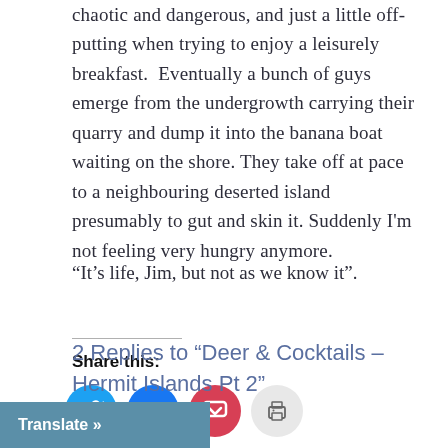chaotic and dangerous, and just a little off-putting when trying to enjoy a leisurely breakfast.  Eventually a bunch of guys emerge from the undergrowth carrying their quarry and dump it into the banana boat waiting on the shore. They take off at pace to a neighbouring deserted island presumably to gut and skin it. Suddenly I'm not feeling very hungry anymore.
“It's life, Jim, but not as we know it”.
Share this:
[Figure (infographic): Four social sharing icon buttons: Twitter (blue circle with bird icon), Facebook (blue circle with f icon), Pocket (red circle with P icon), Print (light grey circle with printer icon)]
2 Replies to “Deer & Cocktails – Hermit Islands Pt 2”
Translate »